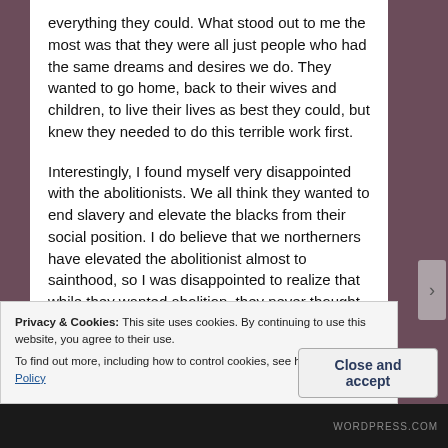everything they could. What stood out to me the most was that they were all just people who had the same dreams and desires we do. They wanted to go home, back to their wives and children, to live their lives as best they could, but knew they needed to do this terrible work first.
Interestingly, I found myself very disappointed with the abolitionists. We all think they wanted to end slavery and elevate the blacks from their social position. I do believe that we northerners have elevated the abolitionist almost to sainthood, so I was disappointed to realize that while they wanted abolition, they never thought past the end of slavery and what that meant, for the former slaves, or themselves. Really, in their minds,
Privacy & Cookies: This site uses cookies. By continuing to use this website, you agree to their use.
To find out more, including how to control cookies, see here: Cookie Policy
Close and accept